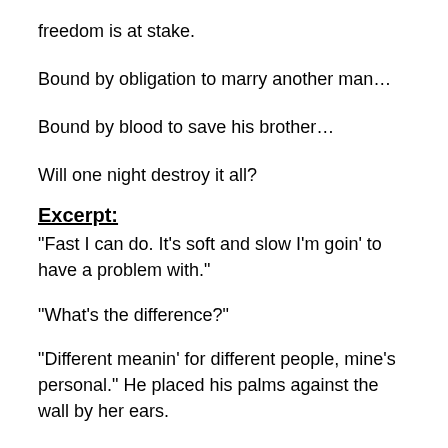freedom is at stake.
Bound by obligation to marry another man…
Bound by blood to save his brother…
Will one night destroy it all?
Excerpt:
“Fast I can do. It’s soft and slow I’m goin’ to have a problem with.”
“What’s the difference?”
“Different meanin’ for different people, mine’s personal.” He placed his palms against the wall by her ears.
“I don’t understand.”
He leaned his forehead against hers. “Fuck… you’re killin’